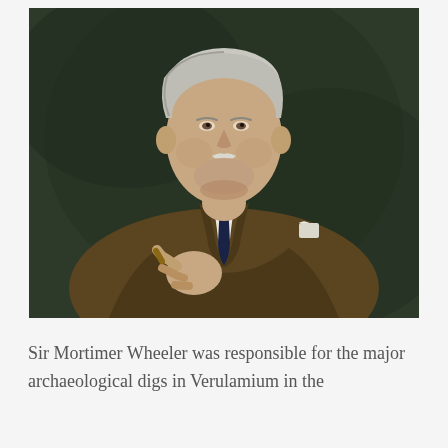[Figure (photo): Oil portrait painting of Sir Mortimer Wheeler, an elderly man with white hair and a white moustache, wearing a brown tweed jacket, white shirt, and dark navy tie with a white pocket square. He is pointing with his right hand, set against a dark green background.]
Sir Mortimer Wheeler was responsible for the major archaeological digs in Verulamium in the